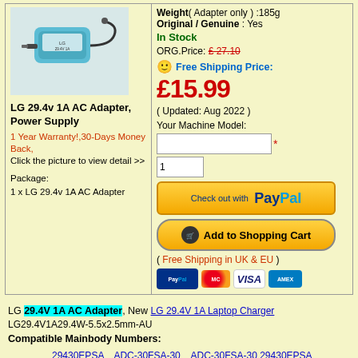[Figure (photo): LG 29.4v 1A AC Adapter product photo showing a blue/teal power adapter with cable]
LG 29.4v 1A AC Adapter, Power Supply
1 Year Warranty!,30-Days Money Back,
Click the picture to view detail >>
Package:
1 x LG 29.4v 1A AC Adapter
Weight( Adapter only ) :185g
Original / Genuine : Yes
In Stock
ORG.Price: £ 27.10
Free Shipping Price:
£15.99
( Updated: Aug 2022 )
Your Machine Model:
( Free Shipping in UK & EU )
LG 29.4V 1A AC Adapter, New LG 29.4V 1A Laptop Charger LG29.4V1A29.4W-5.5x2.5mm-AU
Compatible Mainbody Numbers:
29430EPSA
ADC-30FSA-30
ADC-30FSA-30 29430EPSA
EAY64470403
Fit Machine Model:(Only list part of all the Fit Model)
Lg